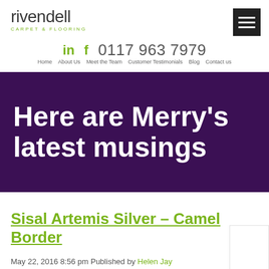[Figure (logo): Rivendell Carpet & Flooring logo with green subtitle]
[Figure (other): Hamburger menu icon — three white lines on black square]
in  f  0117 963 7979
Home  About Us  Meet the Team  Customer Testimonials  Blog  Contact us
Here are Merry's latest musings
Sisal Artemis Silver – Camel Border
May 22, 2016 8:56 pm Published by Helen Jay